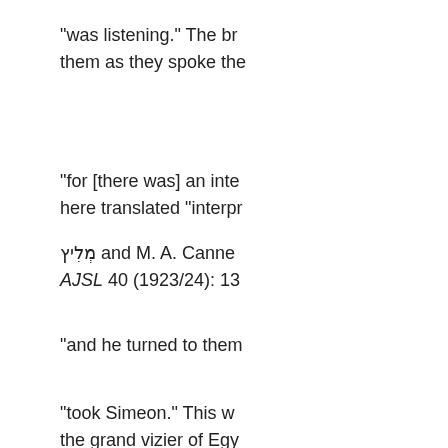"was listening." The br them as they spoke the
"for [there was] an inte here translated "interpr
מְלִיץ and M. A. Canne AJSL 40 (1923/24): 13
"and he turned to them
"took Simeon." This w the grand vizier of Egy
"and he bound him." Se